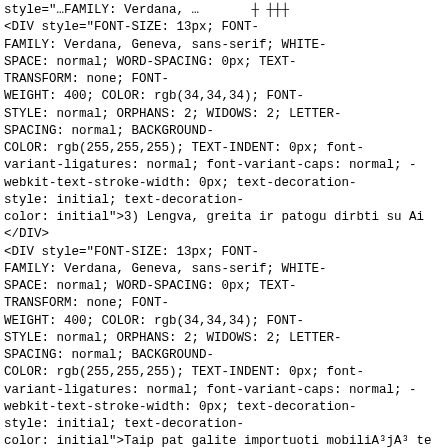<DIV style="FONT-SIZE: 13px; FONT-FAMILY: Verdana, Geneva, sans-serif; WHITE-SPACE: normal; WORD-SPACING: 0px; TEXT-TRANSFORM: none; FONT-WEIGHT: 400; COLOR: rgb(34,34,34); FONT-STYLE: normal; ORPHANS: 2; WIDOWS: 2; LETTER-SPACING: normal; BACKGROUND-COLOR: rgb(255,255,255); TEXT-INDENT: 0px; font-variant-ligatures: normal; font-variant-caps: normal; -webkit-text-stroke-width: 0px; text-decoration-style: initial; text-decoration-color: initial">3) Lengva, greita ir patogu dirbti su Ai</DIV>
<DIV style="FONT-SIZE: 13px; FONT-FAMILY: Verdana, Geneva, sans-serif; WHITE-SPACE: normal; WORD-SPACING: 0px; TEXT-TRANSFORM: none; FONT-WEIGHT: 400; COLOR: rgb(34,34,34); FONT-STYLE: normal; ORPHANS: 2; WIDOWS: 2; LETTER-SPACING: normal; BACKGROUND-COLOR: rgb(255,255,255); TEXT-INDENT: 0px; font-variant-ligatures: normal; font-variant-caps: normal; -webkit-text-stroke-width: 0px; text-decoration-style: initial; text-decoration-color: initial">Taip pat galite importuoti mobiliA³jA³ te</DIV>
<DIV style="FONT-SIZE: 13px; FONT-FAMILY: Verdana, Geneva, sans-serif; WHITE-SPACE: normal; WORD-SPACING: 0px; TEXT-TRANSFORM: none; FONT-WEIGHT: 400; COLOR: rgb(34,34,34); FONT-STYLE: normal; ORPHANS: 2; WIDOWS: 2; LETTER-SPACING: normal; BACKGROUND-COLOR: rgb(255,255,255); TEXT-INDENT: 0px; font-variant-ligatures: normal; font-variant-caps: normal; -webkit-text-stroke-width: 0px; text-decoration-style: initial; text-decoration-color: initial">TRANSFORM: none; FONT-